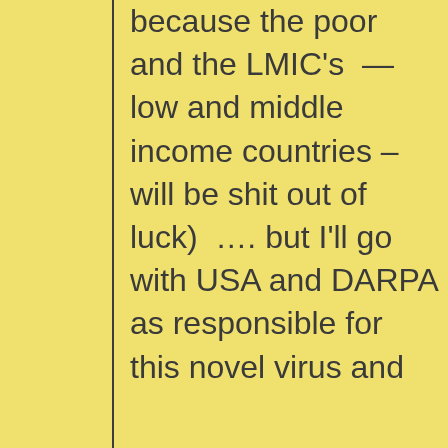because the poor and the LMIC's — low and middle income countries – will be shit out of luck)  …. but I'll go with USA and DARPA as responsible for this novel virus and